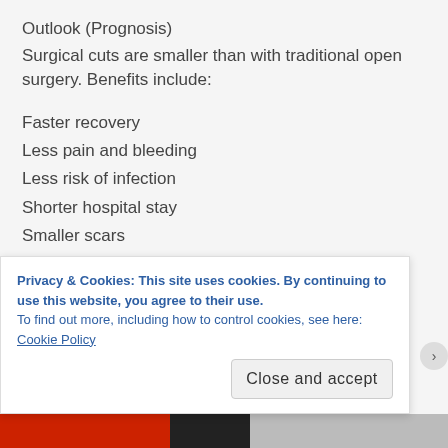Outlook (Prognosis)
Surgical cuts are smaller than with traditional open surgery. Benefits include:
Faster recovery
Less pain and bleeding
Less risk of infection
Shorter hospital stay
Smaller scars
Advertisements
[Figure (other): Advertisement banner with green and blue gradient background]
Privacy & Cookies: This site uses cookies. By continuing to use this website, you agree to their use.
To find out more, including how to control cookies, see here: Cookie Policy
Close and accept